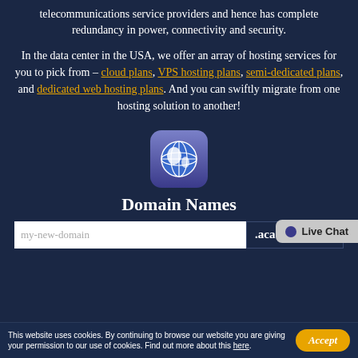telecommunications service providers and hence has complete redundancy in power, connectivity and security.
In the data center in the USA, we offer an array of hosting services for you to pick from – cloud plans, VPS hosting plans, semi-dedicated plans, and dedicated web hosting plans. And you can swiftly migrate from one hosting solution to another!
[Figure (illustration): Globe icon with blue/purple rounded square background]
Domain Names
my-new-domain  .academy (domain search input bar)
This website uses cookies. By continuing to browse our website you are giving your permission to our use of cookies. Find out more about this here.